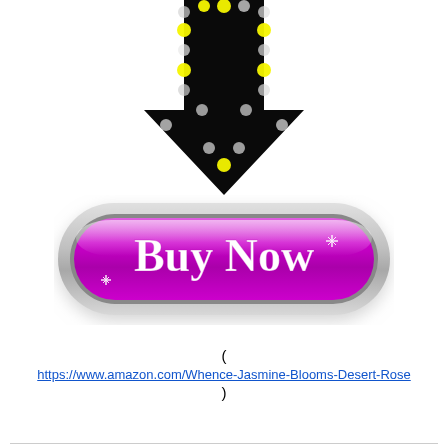[Figure (illustration): A black downward-pointing arrow with yellow and white glowing dot lights arranged along its edges, resembling a marquee-style neon arrow sign.]
[Figure (illustration): A glossy purple/magenta 'Buy Now' button with a silver/chrome beveled border frame. The button text 'Buy Now' is in white cursive script with sparkle highlights.]
(
https://www.amazon.com/Whence-Jasmine-Blooms-Desert-Rose
)